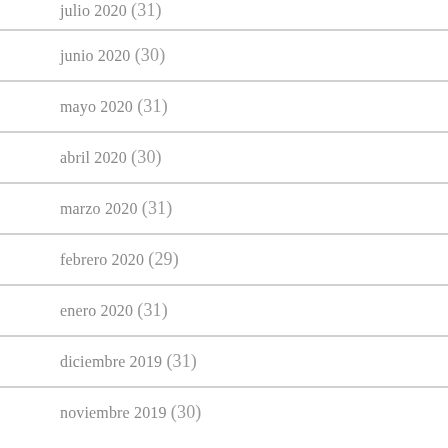julio 2020 (31)
junio 2020 (30)
mayo 2020 (31)
abril 2020 (30)
marzo 2020 (31)
febrero 2020 (29)
enero 2020 (31)
diciembre 2019 (31)
noviembre 2019 (30)